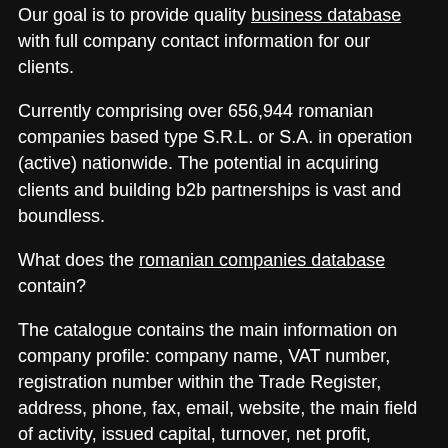Our goal is to provide quality business database with full company contact information for our clients.
Currently comprising over 656,944 romanian companies based type S.R.L. or S.A. in operation (active) nationwide. The potential in acquiring clients and building b2b partnerships is vast and boundless.
What does the romanian companies database contain?
The catalogue contains the main information on company profile: company name, VAT number, registration number within the Trade Register, address, phone, fax, email, website, the main field of activity, issued capital, turnover, net profit, number of employees.
90% Deliverability Guarantee
Our data is verified by automated processes and human eyes. We're so confident about our contact lists that we provide a 90% accuracy guarantee. If more than 10% of your emails bounce, you'll get credits to make up the